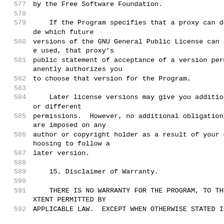577    by the Free Software Foundation.
578
579        If the Program specifies that a proxy can decide which future
580    versions of the GNU General Public License can be used, that proxy's
581    public statement of acceptance of a version permanently authorizes you
582    to choose that version for the Program.
583
584        Later license versions may give you additional or different
585    permissions.  However, no additional obligations are imposed on any
586    author or copyright holder as a result of your choosing to follow a
587    later version.
588
589        15. Disclaimer of Warranty.
590
591        THERE IS NO WARRANTY FOR THE PROGRAM, TO THE EXTENT PERMITTED BY
592    APPLICABLE LAW.  EXCEPT WHEN OTHERWISE STATED IN